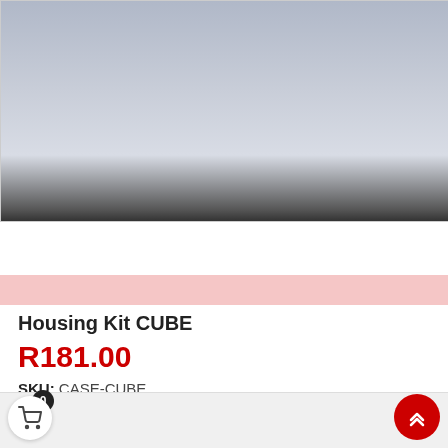[Figure (photo): Product image area showing a housing kit CUBE, partially visible with grey/blue gradient background]
Housing Kit CUBE
R181.00
SKU: CASE-CUBE
More info +